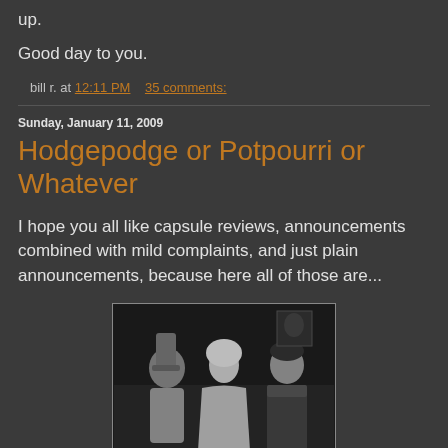up.
Good day to you.
bill r. at 12:11 PM   35 comments:
Sunday, January 11, 2009
Hodgepodge or Potpourri or Whatever
I hope you all like capsule reviews, announcements combined with mild complaints, and just plain announcements, because here all of those are...
[Figure (photo): Black and white still photo from a classic film showing three people: a man in a costume with a tall hat on the left, a blonde woman in the center, and a dark-haired man in a military uniform on the right, in what appears to be an ornate interior setting.]